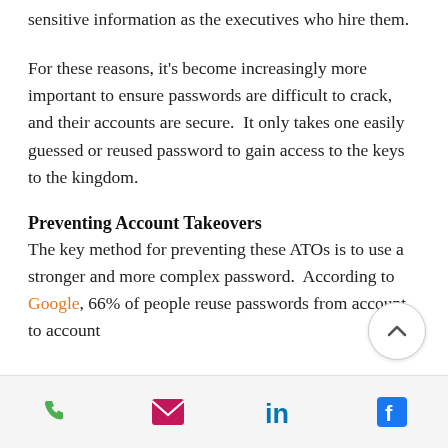sensitive information as the executives who hire them.
For these reasons, it’s become increasingly more important to ensure passwords are difficult to crack, and their accounts are secure.  It only takes one easily guessed or reused password to gain access to the keys to the kingdom.
Preventing Account Takeovers
The key method for preventing these ATOs is to use a stronger and more complex password.  According to Google, 66% of people reuse passwords from account to account